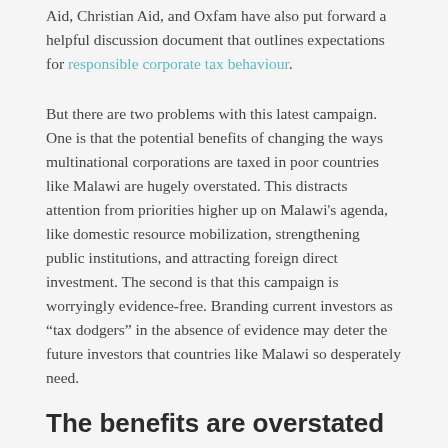Aid, Christian Aid, and Oxfam have also put forward a helpful discussion document that outlines expectations for responsible corporate tax behaviour.
But there are two problems with this latest campaign. One is that the potential benefits of changing the ways multinational corporations are taxed in poor countries like Malawi are hugely overstated. This distracts attention from priorities higher up on Malawi's agenda, like domestic resource mobilization, strengthening public institutions, and attracting foreign direct investment. The second is that this campaign is worryingly evidence-free. Branding current investors as “tax dodgers” in the absence of evidence may deter the future investors that countries like Malawi so desperately need.
The benefits are overstated
The argument that changes to international taxes could